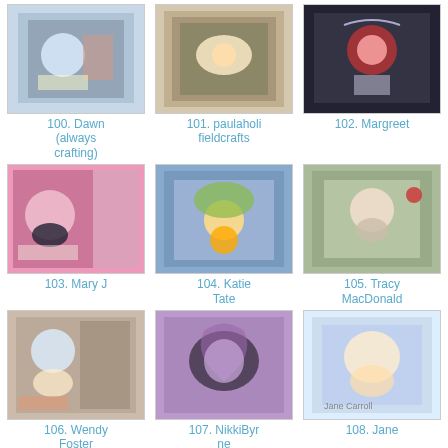[Figure (photo): Craft card thumbnail]
100. Dawn (always crafting)
[Figure (photo): Craft card thumbnail]
101. paulaholi fieldcrafts
[Figure (photo): Craft card thumbnail]
102. Margreet
[Figure (photo): Craft card thumbnail]
103. Mary J
[Figure (photo): Craft card thumbnail]
104. Katie Tate
[Figure (photo): Craft card thumbnail]
105. Tracy MacDonald
[Figure (photo): Craft card thumbnail]
106. Wendy Foster
[Figure (photo): Craft card thumbnail]
107. NikkiByrne
[Figure (photo): Craft card thumbnail]
108. Jane
[Figure (photo): Craft card thumbnail]
109. Zulma
[Figure (photo): Craft card thumbnail]
110. The
[Figure (photo): Craft card thumbnail]
111. Jacee